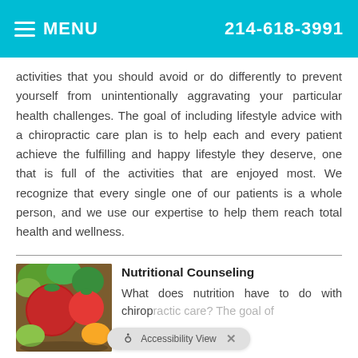MENU  214-618-3991
activities that you should avoid or do differently to prevent yourself from unintentionally aggravating your particular health challenges. The goal of including lifestyle advice with a chiropractic care plan is to help each and every patient achieve the fulfilling and happy lifestyle they deserve, one that is full of the activities that are enjoyed most. We recognize that every single one of our patients is a whole person, and we use our expertise to help them reach total health and wellness.
Nutritional Counseling
[Figure (photo): Photo of fresh vegetables including red tomatoes, green peppers, and other colorful produce on a wooden surface]
What does nutrition have to do with chiropractic care? The goal of